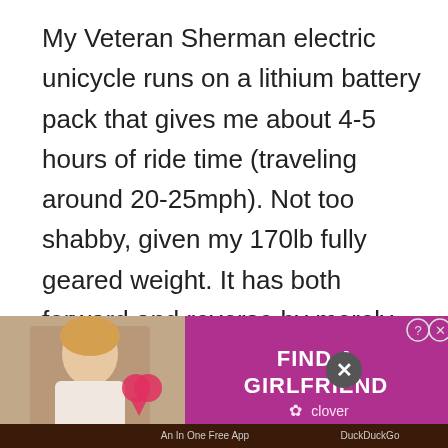My Veteran Sherman electric unicycle runs on a lithium battery pack that gives me about 4-5 hours of ride time (traveling around 20-25mph). Not too shabby, given my 170lb fully geared weight. It has both forward and reverse by merely changing the pressure on my pedals, fore and aft.
A low speeds (under 15mph) with a twitch, I
can swerve out of the way quickly for other
[Figure (screenshot): Advertisement banner for 'FIND A GIRLFRIEND' via Clover app, with a photo of a woman on the left and purple background on the right. Bottom bar shows 'An In One Free App' and 'DuckDuckGo'.]